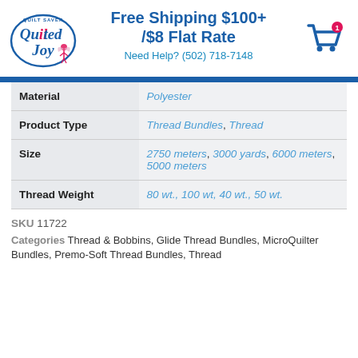[Figure (logo): Quilted Joy logo with text 'QUILT SAVER Quilted Joy' and a fairy figure in pink]
Free Shipping $100+ /$8 Flat Rate
Need Help? (502) 718-7148
[Figure (illustration): Shopping cart icon with a red badge showing the number 1]
| Material | Polyester |
| Product Type | Thread Bundles, Thread |
| Size | 2750 meters, 3000 yards, 6000 meters, 5000 meters |
| Thread Weight | 80 wt., 100 wt, 40 wt., 50 wt. |
SKU 11722
Categories Thread & Bobbins, Glide Thread Bundles, MicroQuilter Bundles, Premo-Soft Thread Bundles, Thread